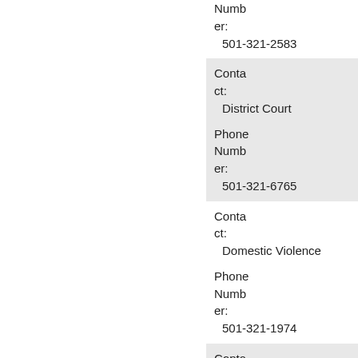Phone Number: 501-321-2583
Contact: District Court
Phone Number: 501-321-6765
Contact: Domestic Violence
Phone Number: 501-321-1974
Contact: Election Commission
Phone Number: